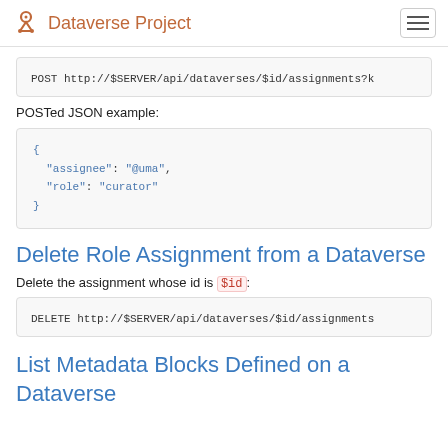Dataverse Project
[Figure (other): Code block showing POST http://$SERVER/api/dataverses/$id/assignments?k]
POSTed JSON example:
[Figure (other): JSON code block: { "assignee": "@uma", "role": "curator" }]
Delete Role Assignment from a Dataverse
Delete the assignment whose id is $id:
[Figure (other): Code block showing DELETE http://$SERVER/api/dataverses/$id/assignments]
List Metadata Blocks Defined on a Dataverse